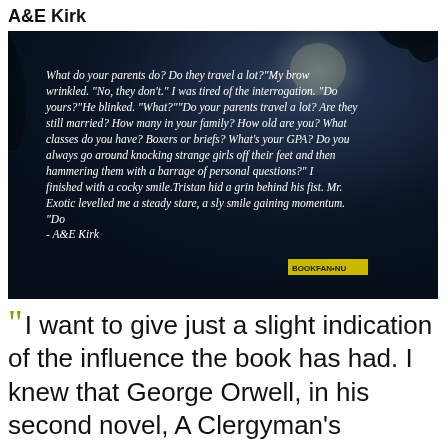A&E Kirk
[Figure (photo): Dark night-sky background image with a quote in italic white text reading: What do your parents do? Do they travel a lot?"My brow wrinkled. "No, they don't." I was tired of the interrogation. "Do yours?"He blinked. "What?""Do your parents travel a lot? Are they still married? How many in your family? How old are you? What classes do you have? Boxers or briefs? What's your GPA? Do you always go around knocking strange girls off their feet and then hammering them with a barrage of personal questions?" I finished with a cocky smile.Tristan hid a grin behind his fist. Mr. Exotic levelled me a steady stare, a sly smile gaining momentum. "Do - A&E Kirk]
I want to give just a slight indication of the influence the book has had. I knew that George Orwell, in his second novel, A Clergyman's Daughter , published in 1935, had borrowed from Joyce for his nighttime scene in Trafalgar